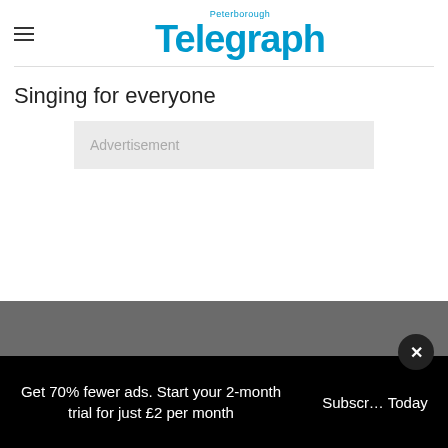Peterborough Telegraph
Singing for everyone
[Figure (other): Advertisement placeholder box with grey background and light text reading 'Advertisement']
Get 70% fewer ads. Start your 2-month trial for just £2 per month
Subscribe Today